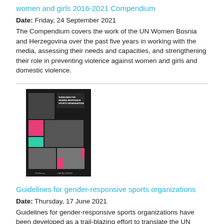women and girls 2016-2021 Compendium
Date: Friday, 24 September 2021
The Compendium covers the work of the UN Women Bosnia and Herzegovina over the past five years in working with the media, assessing their needs and capacities, and strengthening their role in preventing violence against women and girls and domestic violence.
[Figure (photo): Cover image of Guidelines for Gender-Responsive Sports Organizations publication, showing collage of sports images with pink and teal blocks]
Guidelines for gender-responsive sports organizations
Date: Thursday, 17 June 2021
Guidelines for gender-responsive sports organizations have been developed as a trail-blazing effort to translate the UN Women's Sports for Generation Equality principles into a feasible step-by-step guide. The guidelines are structured to help sports organizations in terms of empowerment of women and girls and